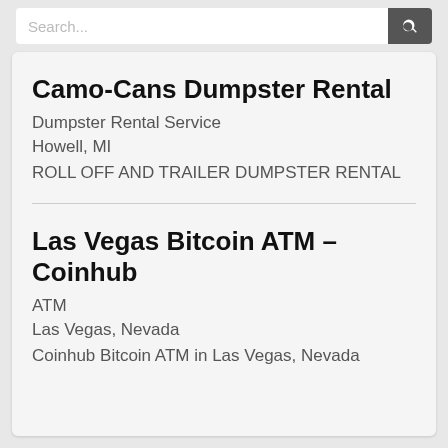Search...
Camo-Cans Dumpster Rental
Dumpster Rental Service
Howell, MI
ROLL OFF AND TRAILER DUMPSTER RENTAL
Las Vegas Bitcoin ATM – Coinhub
ATM
Las Vegas, Nevada
Coinhub Bitcoin ATM in Las Vegas, Nevada